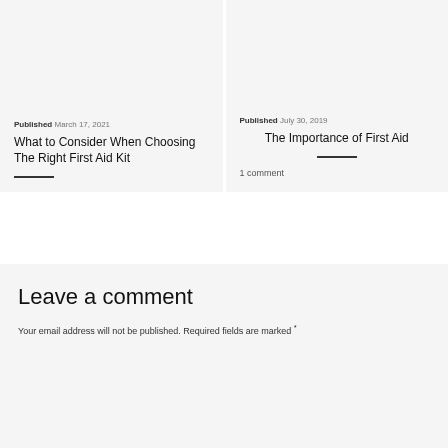Published March 17, 2021
What to Consider When Choosing The Right First Aid Kit
Published July 30, 2019
The Importance of First Aid
1 comment
Leave a comment
Your email address will not be published. Required fields are marked *